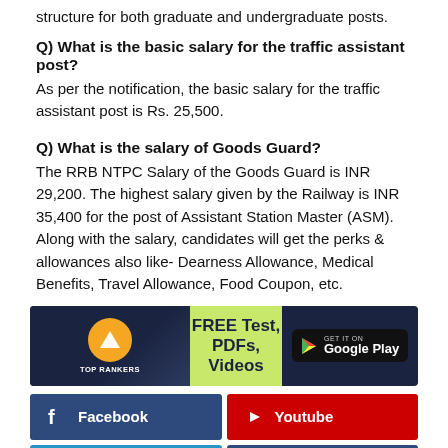structure for both graduate and undergraduate posts.
Q) What is the basic salary for the traffic assistant post?
As per the notification, the basic salary for the traffic assistant post is Rs. 25,500.
Q) What is the salary of Goods Guard?
The RRB NTPC Salary of the Goods Guard is INR 29,200. The highest salary given by the Railway is INR 35,400 for the post of Assistant Station Master (ASM). Along with the salary, candidates will get the perks & allowances also like- Dearness Allowance, Medical Benefits, Travel Allowance, Food Coupon, etc.
[Figure (infographic): Top Rankers banner with logo, 'FREE Test, PDFs, Videos' text in center, and Get it on Google Play button]
[Figure (infographic): Social media buttons grid: Facebook, Youtube, Telegram, Bank Group, SSC Group, CLAT Group]